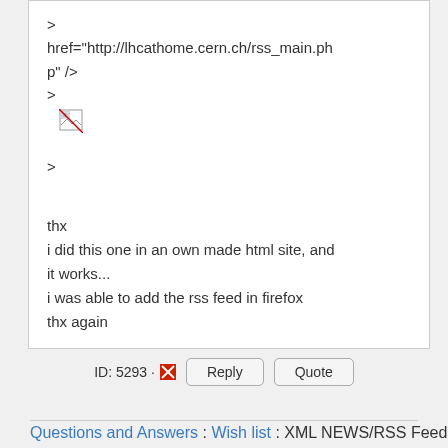>
href="http://lhcathome.cern.ch/rss_main.php" />
>
[broken image]
>


thx
i did this one in an own made html site, and it works...
i was able to add the rss feed in firefox
thx again
ID: 5293 · [flag icon] Reply Quote
Questions and Answers : Wish list : XML NEWS/RSS Feed
[Figure (logo): BOINC Powered By logo with orange and blue design]